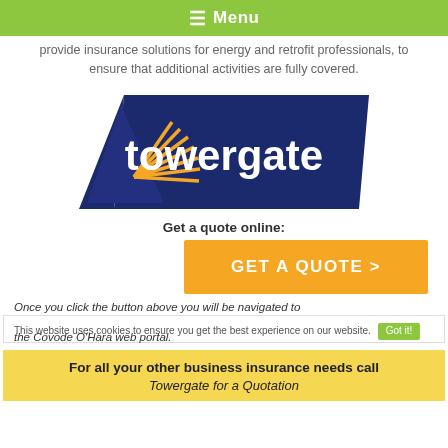≡ Menu
provide insurance solutions for energy and retrofit professionals, to ensure that additional activities are fully covered.
[Figure (logo): Towergate Insurance logo — dark navy blue parallelogram shape with white 'towergate' text and a blue triangle with yellow sunburst rays on the left]
Get a quote online:
GET A QUOTE >
Once you click the button above you will be navigated to the Covode O'Hara web portal.
This website uses cookies to ensure you get the best experience on our website.
Got it!
For all your other business insurance needs call
Towergate for a Quotation